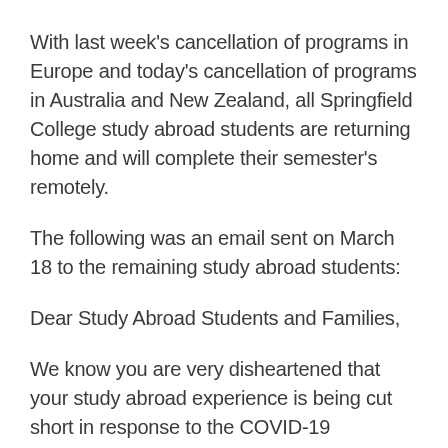With last week's cancellation of programs in Europe and today's cancellation of programs in Australia and New Zealand, all Springfield College study abroad students are returning home and will complete their semester's remotely.
The following was an email sent on March 18 to the remaining study abroad students:
Dear Study Abroad Students and Families,
We know you are very disheartened that your study abroad experience is being cut short in response to the COVID-19 pandemic.  By now you have received updates from our partners,